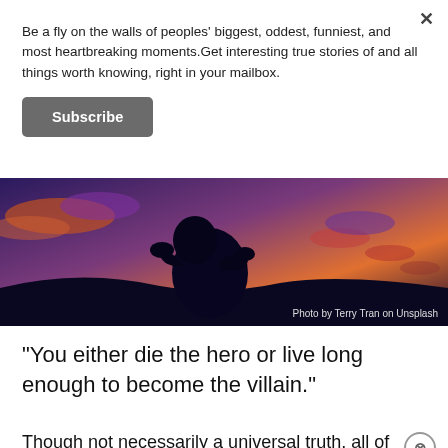Be a fly on the walls of peoples' biggest, oddest, funniest, and most heartbreaking moments.Get interesting true stories of and all things worth knowing, right in your mailbox.
Subscribe
[Figure (photo): Silhouette of a person sitting with head in hands against a dramatic purple and orange sunset sky with clouds. Photo credit: Photo by Terry Tran on Unsplash]
"You either die the hero or live long enough to become the villain."
Though not necessarily a universal truth, all of u
have witnessed unfortunate moments in our lives, where we've seen this saying become a